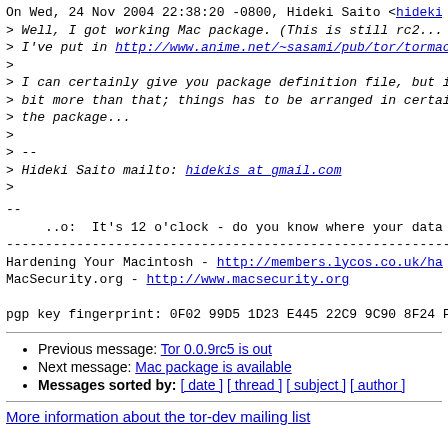On Wed, 24 Nov 2004 22:38:20 -0800, Hideki Saito <hideki...
> Well, I got working Mac package. (This is still rc2...
> I've put in http://www.anime.net/~sasami/pub/tor/tormac...
>
> I can certainly give you package definition file, but i...
> bit more than that; things has to be arranged in certai...
> the package...
>
> --
> Hideki Saito mailto: hidekis at gmail.com
>
--
     ..o:  It's 12 o'clock - do you know where your data...
----------------------------------------------------------------------
Hardening Your Macintosh - http://members.lycos.co.uk/ha...
MacSecurity.org - http://www.macsecurity.org

pgp key fingerprint: 0F02 99D5 1D23 E445 22C9 9C90 8F24 F...
Previous message: Tor 0.0.9rc5 is out
Next message: Mac package is available
Messages sorted by: [ date ] [ thread ] [ subject ] [ author ]
More information about the tor-dev mailing list